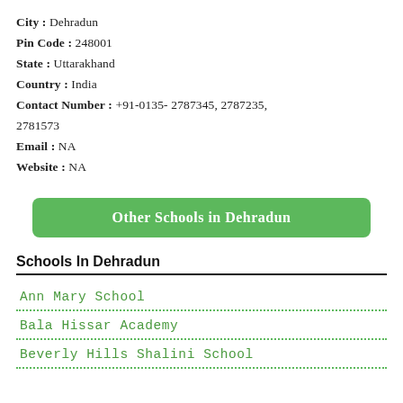City : Dehradun
Pin Code : 248001
State : Uttarakhand
Country : India
Contact Number : +91-0135- 2787345, 2787235, 2781573
Email : NA
Website : NA
Other Schools in Dehradun
Schools In Dehradun
Ann Mary School
Bala Hissar Academy
Beverly Hills Shalini School